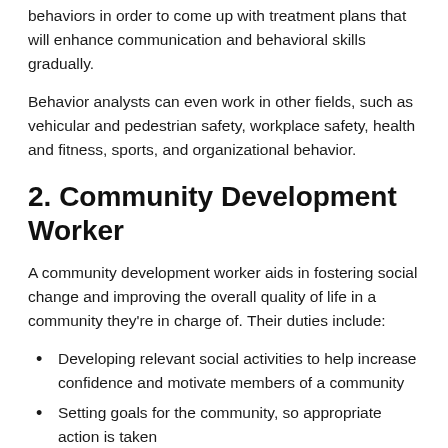behaviors in order to come up with treatment plans that will enhance communication and behavioral skills gradually.
Behavior analysts can even work in other fields, such as vehicular and pedestrian safety, workplace safety, health and fitness, sports, and organizational behavior.
2. Community Development Worker
A community development worker aids in fostering social change and improving the overall quality of life in a community they're in charge of. Their duties include:
Developing relevant social activities to help increase confidence and motivate members of a community
Setting goals for the community, so appropriate action is taken
Working on projects to tackle major issues in the community, such as high rates of teenage pregnancy,